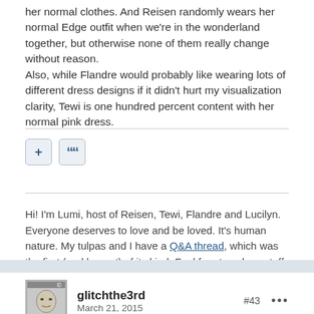her normal clothes. And Reisen randomly wears her normal Edge outfit when we're in the wonderland together, but otherwise none of them really change without reason.
Also, while Flandre would probably like wearing lots of different dress designs if it didn't hurt my visualization clarity, Tewi is one hundred percent content with her normal pink dress.
[Figure (other): Two small icon buttons: a plus (+) button and a quotation mark button, styled with light blue rounded square borders.]
Hi! I'm Lumi, host of Reisen, Tewi, Flandre and Lucilyn. Everyone deserves to love and be loved. It's human nature. My tulpas and I have a Q&A thread, which was the first (and largest) of its kind. Feel free to ask us stuff.
glitchthe3rd
March 21, 2015
#43
Luna:  Jeez, must be nice to just have literally thousands of